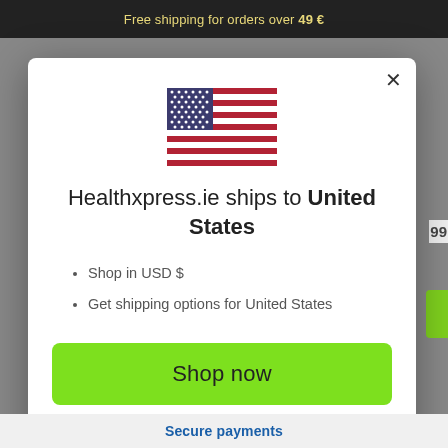Free shipping for orders over 49 €
[Figure (illustration): US flag illustration inside a modal popup dialog]
Healthxpress.ie ships to United States
Shop in USD $
Get shipping options for United States
Shop now
Change shipping country
Secure payments